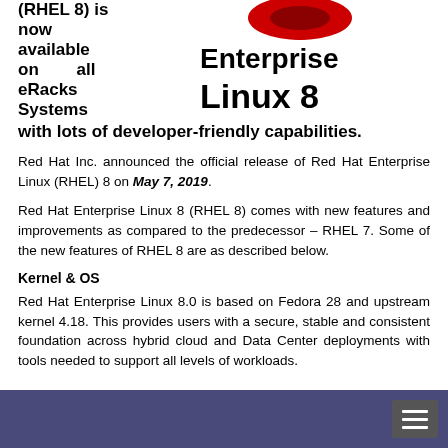(RHEL 8) is now available on all eRacks Systems with lots of developer-friendly capabilities.
[Figure (logo): Red Hat Enterprise Linux 8 logo with red hat icon and bold black text]
Red Hat Inc. announced the official release of Red Hat Enterprise Linux (RHEL) 8 on May 7, 2019.
Red Hat Enterprise Linux 8 (RHEL 8) comes with new features and improvements as compared to the predecessor – RHEL 7. Some of the new features of RHEL 8 are as described below.
Kernel & OS
Red Hat Enterprise Linux 8.0 is based on Fedora 28 and upstream kernel 4.18. This provides users with a secure, stable and consistent foundation across hybrid cloud and Data Center deployments with tools needed to support all levels of workloads.